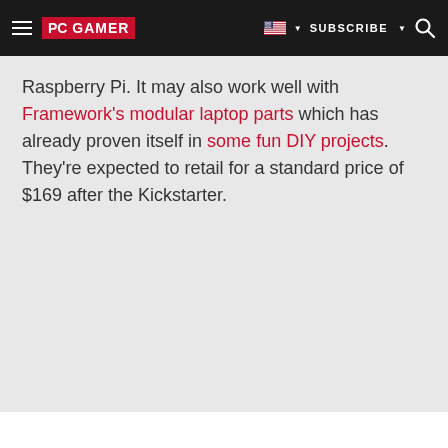PC GAMER | SUBSCRIBE
Raspberry Pi. It may also work well with Framework's modular laptop parts which has already proven itself in some fun DIY projects. They're expected to retail for a standard price of $169 after the Kickstarter.